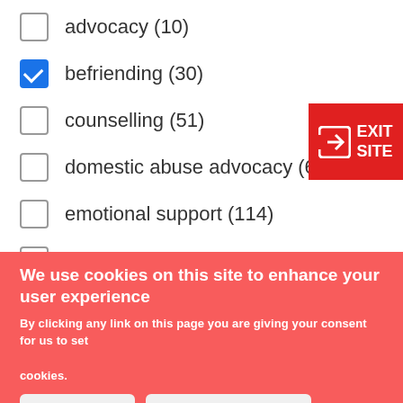advocacy (10)
befriending (30)
counselling (51)
domestic abuse advocacy (62)
emotional support (114)
employment support (7)
We use cookies on this site to enhance your user experience

By clicking any link on this page you are giving your consent for us to set cookies.
OK, I agree | Give me more info